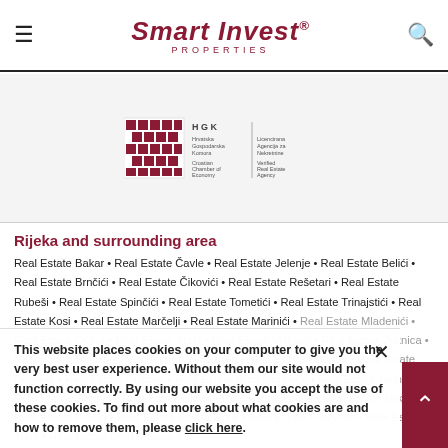Smart Invest® PROPERTIES
[Figure (logo): HGK - Hrvatska Gospodarska Komora / Croatian Chamber of Economy - Licencirana Agencija za Nekretnine / Verified Real Estate Agency badge]
Rijeka and surrounding area
Real Estate Bakar • Real Estate Čavle • Real Estate Jelenje • Real Estate Belići • Real Estate Brnčići • Real Estate Čikovići • Real Estate Rešetari • Real Estate Rubeši • Real Estate Spinčići • Real Estate Tometići • Real Estate Trinajstići • Real Estate Kosi • Real Estate Marčelji • Real Estate Marinići • Real Estate Mladenići • Real Estate Oštrni • Real Estate Sroki • Real Estate Viškovo • Real Estate Žuknica • Real Estate Šmrika • Real Estate Vojnić Breg • Real Estate Dramalj • Real Estate Drivenik • Real Estate Grižane • Real Estate Brod Moravice • Real Estate Delnice • Real Estate Gerovo • Real Estate Skrad • Real Estate Lokve • Real Estate Mrkopalj • Real Estate Prezid • Real Estate Ravna Gora • Real Estate Vrbovsko • Real Estate Turni • Real Estate Baška • Real Estate Punat • Real Estate Šilo • Real Estate Njivice • Real Estate Omišalj • Real Estate Klimno • Real Estate Dobrinj • Real Estate Brzac • Real Estate Gabonjin • Real Estate Vrbnik • Real Estate Linardići • Real Estate Dunat • Real Estate Pinezići • Real Estate Malinska • Real Estate Krk • Real Estate Draga Bašćanska • Real Estate Batomalj • Real Estate Risika • Real Estate Kornić • Real Estate Soline • Real Estate Sveti Vid-Miholjice • Real Estate Čižići • Real Estate Muraj • Real Estate Politin • Real Estate Jurandvor • Real Estate Bašćanska Draga • Real Estate Batomalj • Real Estate Stara Baška • Real Estate Jasak • Real Estate Divić • Real Estate Costabella • Real Estate Laurana
This website places cookies on your computer to give you the very best user experience. Without them our site would not function correctly. By using our website you accept the use of these cookies. To find out more about what cookies are and how to remove them, please click here.